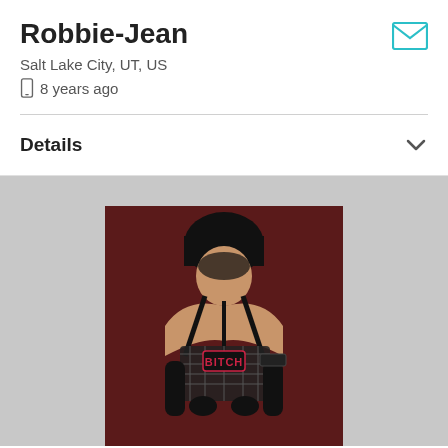Robbie-Jean
Salt Lake City, UT, US
8 years ago
Details
[Figure (photo): Profile photo of a person in black leather and fishnet outfit holding a paddle, against a dark red background]